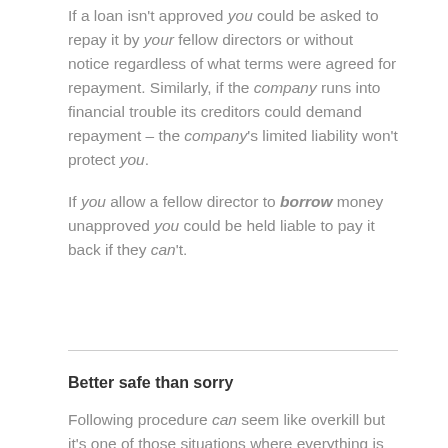If a loan isn't approved you could be asked to repay it by your fellow directors or without notice regardless of what terms were agreed for repayment. Similarly, if the company runs into financial trouble its creditors could demand repayment – the company's limited liability won't protect you.
If you allow a fellow director to borrow money unapproved you could be held liable to pay it back if they can't.
Better safe than sorry
Following procedure can seem like overkill but it's one of those situations where everything is